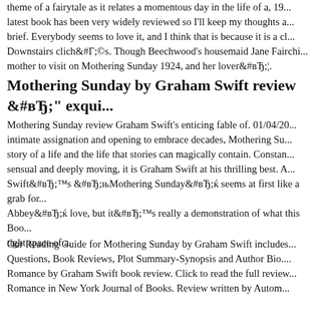theme of a fairytale as it relates a momentous day in the life of a, 19... latest book has been very widely reviewed so I'll keep my thoughts a... brief. Everybody seems to love it, and I think that is because it is a cl... Downstairs clichГ©s. Though Beechwood's housemaid Jane Fairchi... mother to visit on Mothering Sunday 1924, and her loverвЂ¦.
Mothering Sunday by Graham Swift review вЂ" exqui...
Mothering Sunday review Graham Swift's enticing fable of. 01/04/20... intimate assignation and opening to embrace decades, Mothering Su... story of a life and the life that stories can magically contain. Constan... sensual and deeply moving, it is Graham Swift at his thrilling best. A... SwiftвЂ™s вЂњMothering SundayвЂќ seems at first like a grab for... AbbeyвЂќ love, but itвЂ™s really a demonstration of what this Boo... tight space of a.
Our Reading Guide for Mothering Sunday by Graham Swift includes... Questions, Book Reviews, Plot Summary-Synopsis and Author Bio.... Romance by Graham Swift book review. Click to read the full review... Romance in New York Journal of Books. Review written by Autom...